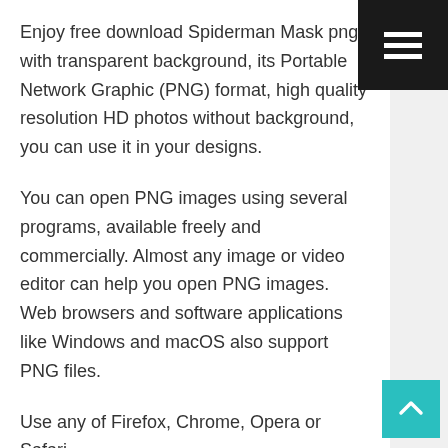Enjoy free download Spiderman Mask png with transparent background, its Portable Network Graphic (PNG) format, high quality resolution HD photos without background, you can use it in your designs.
You can open PNG images using several programs, available freely and commercially. Almost any image or video editor can help you open PNG images. Web browsers and software applications like Windows and macOS also support PNG files.
Use any of Firefox, Chrome, Opera or Safari...